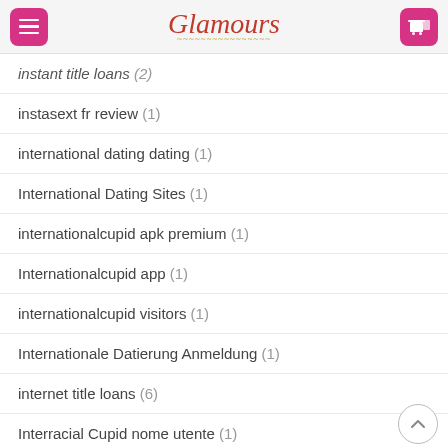Glamours
instant title loans (2)
instasext fr review (1)
international dating dating (1)
International Dating Sites (1)
internationalcupid apk premium (1)
Internationalcupid app (1)
internationalcupid visitors (1)
Internationale Datierung Anmeldung (1)
internet title loans (6)
Interracial Cupid nome utente (1)